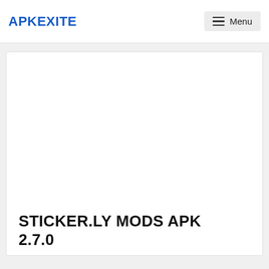APKEXITE  Menu
[Figure (other): Empty white image placeholder area within a card]
STICKER.LY MODS APK 2.7.0